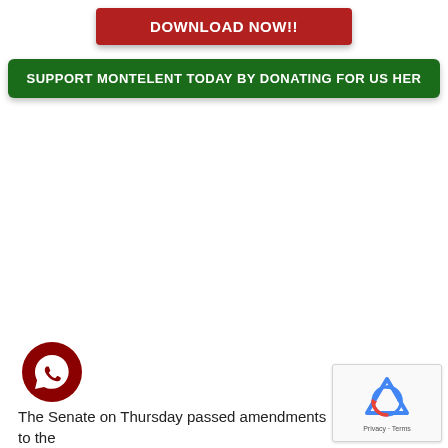[Figure (other): Red DOWNLOAD NOW!! button]
[Figure (other): Green SUPPORT MONTELENT TODAY BY DONATING FOR US HERE button, text partially cut off]
[Figure (other): WhatsApp icon - dark red circle with white WhatsApp logo]
[Figure (other): reCAPTCHA widget box with Google reCAPTCHA logo and Privacy - Terms text]
The Senate on Thursday passed amendments to the